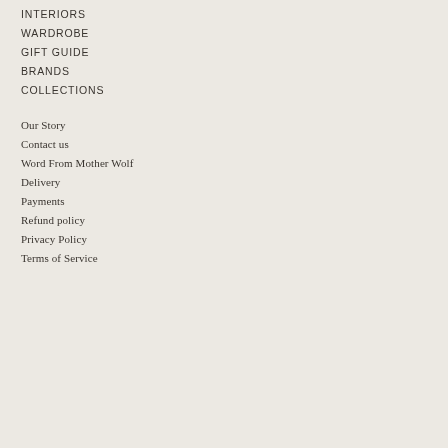INTERIORS
WARDROBE
GIFT GUIDE
BRANDS
COLLECTIONS
Our Story
Contact us
Word From Mother Wolf
Delivery
Payments
Refund policy
Privacy Policy
Terms of Service